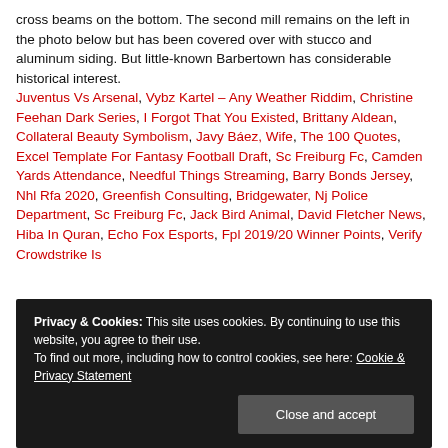cross beams on the bottom. The second mill remains on the left in the photo below but has been covered over with stucco and aluminum siding. But little-known Barbertown has considerable historical interest.
Juventus Vs Arsenal, Vybz Kartel – Any Weather Riddim, Christine Feehan Dark Series, I Forgot That You Existed, Brittany Aldean, Collateral Beauty Symbolism, Javy Báez, Wife, The 100 Quotes, Excel Template For Fantasy Football Draft, Sc Freiburg Fc, Camden Yards Attendance, Needful Things Streaming, Barry Bonds Jersey, Nhl Rfa 2020, Greenfish Consulting, Bridgewater, Nj Police Department, Sc Freiburg Fc, Jack Bird Animal, David Fletcher News, Hiba In Quran, Echo Fox Esports, Fpl 2019/20 Winner Points, Verify Crowdstrike Is
Privacy & Cookies: This site uses cookies. By continuing to use this website, you agree to their use.
To find out more, including how to control cookies, see here: Cookie & Privacy Statement